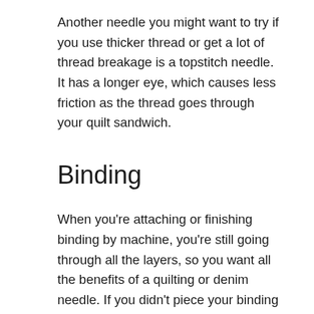Another needle you might want to try if you use thicker thread or get a lot of thread breakage is a topstitch needle. It has a longer eye, which causes less friction as the thread goes through your quilt sandwich.
Binding
When you're attaching or finishing binding by machine, you're still going through all the layers, so you want all the benefits of a quilting or denim needle. If you didn't piece your binding before quilting, it's not the end of the world if you keep the heavier needle in to piece your binding. If your quilting was done by hand, on a longarm, or just on a different machine, you'll want to swap your piecing needle out for something heavier to attach the binding to avoid skips and stitches that are